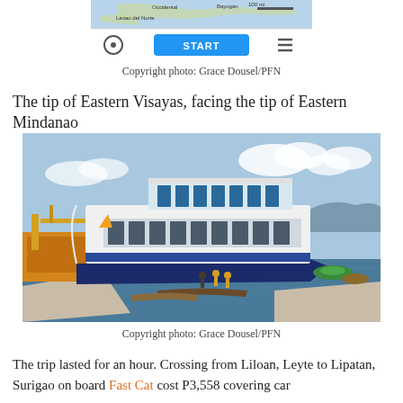[Figure (screenshot): Screenshot of a map app showing the tip of Eastern Visayas region with a blue START navigation button at the bottom]
Copyright photo: Grace Dousel/PFN
The tip of Eastern Visayas, facing the tip of Eastern Mindanao
[Figure (photo): A large white and blue Fast Cat ferry boat docked at a pier, with smaller outrigger boats visible in the background on calm blue water under a partly cloudy sky]
Copyright photo: Grace Dousel/PFN
The trip lasted for an hour. Crossing from Liloan, Leyte to Lipatan, Surigao on board Fast Cat cost P3,558 covering car